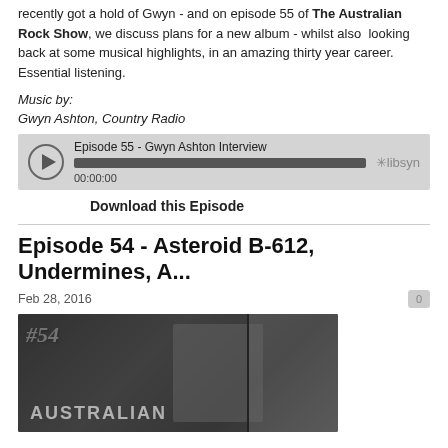recently got a hold of Gwyn - and on episode 55 of The Australian Rock Show, we discuss plans for a new album - whilst also looking back at some musical highlights, in an amazing thirty year career. Essential listening.
Music by:
Gwyn Ashton, Country Radio
[Figure (other): Audio player widget from Libsyn showing Episode 55 - Gwyn Ashton Interview, with play button, progress bar, and timestamp 00:00:00]
Download this Episode
Episode 54 - Asteroid B-612, Undermines, A...
Feb 28, 2016
[Figure (photo): Black and white photo collage for Episode 54 showing musicians, with #54 text overlay and 'AUSTRALIAN' watermark text]